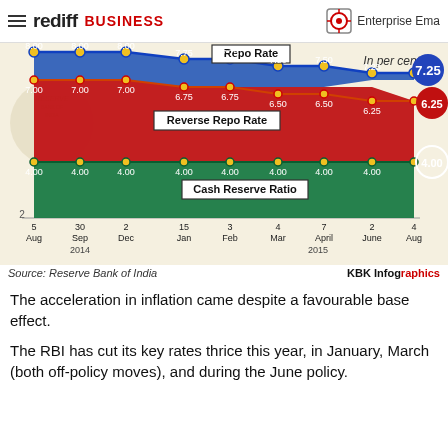rediff BUSINESS | Enterprise Email
[Figure (line-chart): Repo Rate, Reverse Repo Rate, Cash Reserve Ratio]
Source: Reserve Bank of India | KBK Infographics
The acceleration in inflation came despite a favourable base effect.
The RBI has cut its key rates thrice this year, in January, March (both off-policy moves), and during the June policy.